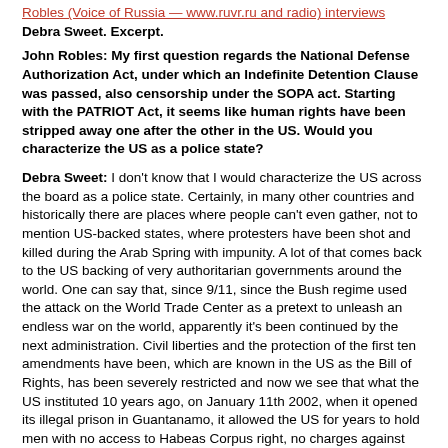Robles (Voice of Russia — www.ruvr.ru and radio) interviews Debra Sweet. Excerpt.
John Robles: My first question regards the National Defense Authorization Act, under which an Indefinite Detention Clause was passed, also censorship under the SOPA act. Starting with the PATRIOT Act, it seems like human rights have been stripped away one after the other in the US. Would you characterize the US as a police state?
Debra Sweet: I don't know that I would characterize the US across the board as a police state. Certainly, in many other countries and historically there are places where people can't even gather, not to mention US-backed states, where protesters have been shot and killed during the Arab Spring with impunity. A lot of that comes back to the US backing of very authoritarian governments around the world. One can say that, since 9/11, since the Bush regime used the attack on the World Trade Center as a pretext to unleash an endless war on the world, apparently it's been continued by the next administration. Civil liberties and the protection of the first ten amendments have been, which are known in the US as the Bill of Rights, has been severely restricted and now we see that what the US instituted 10 years ago, on January 11th 2002, when it opened its illegal prison in Guantanamo, it allowed the US for years to hold men with no access to Habeas Corpus right, no charges against them. And, in fact, there have been very intense court battles within the US to try to get those men any rights at all. And, in fact, 171 are